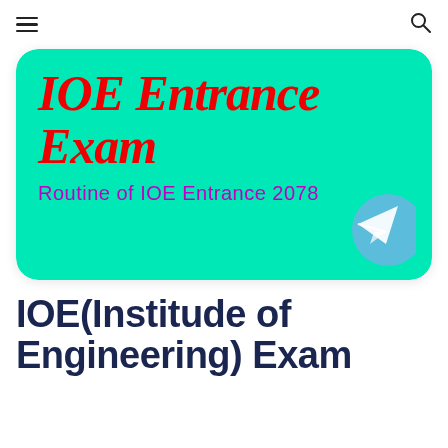≡  🔍
[Figure (illustration): Green rounded rectangle card with 'IOE Entrance Exam' in large bold red italic text, subtitle 'Routine of IOE Entrance 2078' in magenta, and a blue Telegram logo circle in the bottom right corner.]
IOE(Institude of Engineering) Exam